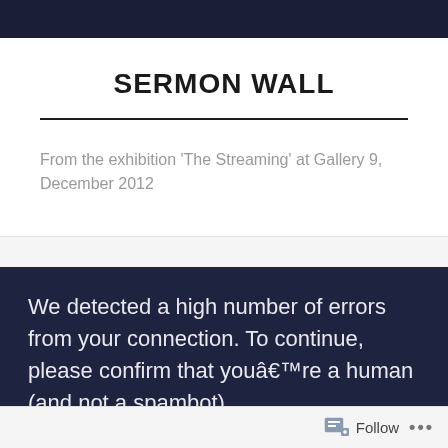SERMON WALL
From the exhibition 'The Streaming' at Gallery 9, December 2012
We detected a high number of errors from your connection. To continue, please confirm that youâ€™re a human (and not a spambot).
Follow ...